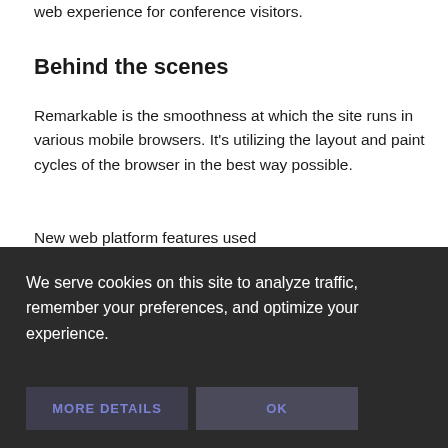web experience for conference visitors.
Behind the scenes
Remarkable is the smoothness at which the site runs in various mobile browsers. It's utilizing the layout and paint cycles of the browser in the best way possible.
New web platform features used
We serve cookies on this site to analyze traffic, remember your preferences, and optimize your experience.
MORE DETAILS
OK